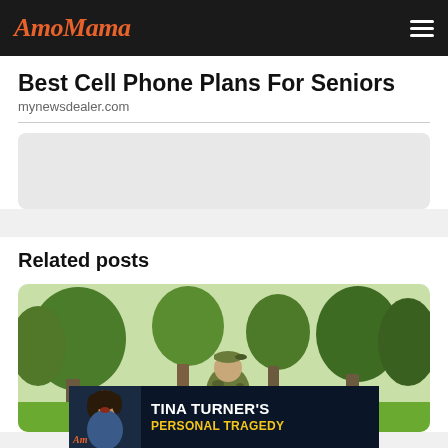AmoMama
Best Cell Phone Plans For Seniors
mynewsdealer.com
Related posts
[Figure (photo): Person in camouflage clothing sitting in a wheelchair viewed from behind, in a park with green trees and grass]
[Figure (infographic): Dark blue banner advertisement with photo of a woman and text: TINA TURNER'S PERSONAL TRAGEDY]